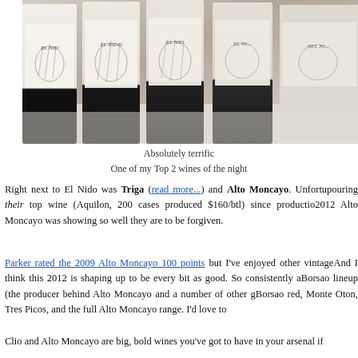[Figure (photo): Multiple El Nido wine bottles lined up on a table, showing white labels with dark artistic design]
Absolutely terrific
One of my Top 2 wines of the night
Right next to El Nido was Triga (read more...) and Alto Moncayo. Unfortunately they were not pouring their top wine (Aquilon, 200 cases produced $160/btl) since production is so small. But the 2012 Alto Moncayo was showing so well they are to be forgiven.
Parker rated the 2009 Alto Moncayo 100 points but I've enjoyed other vintages that were also stellar. And I think this 2012 is shaping up to be every bit as good. So consistently a great wine. I love the whole Borsao lineup (the producer behind Alto Moncayo and a number of other great wines) including the Borsao red, Monte Oton, Tres Picos, and the full Alto Moncayo range. I'd love to do a vertical.
Clio and Alto Moncayo are big, bold wines you've got to have in your arsenal if you love big reds.